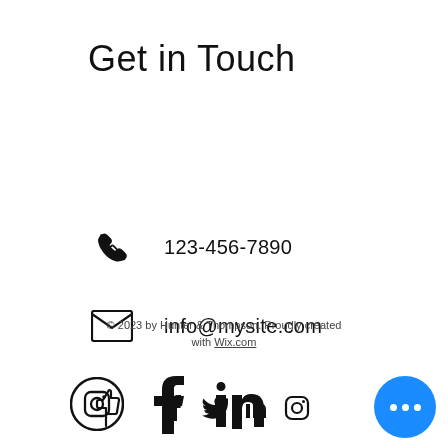Get in Touch
123-456-7890
info@mysite.com
[Figure (infographic): Thumbs up icon with social media icons: Facebook, Twitter, LinkedIn, Instagram]
© 2023 by Hunter & Thompson. Proudly created with Wix.com
[Figure (infographic): Bottom row social media icons: Instagram, Facebook, LinkedIn]
[Figure (other): Blue circular button with three white dots (more options)]